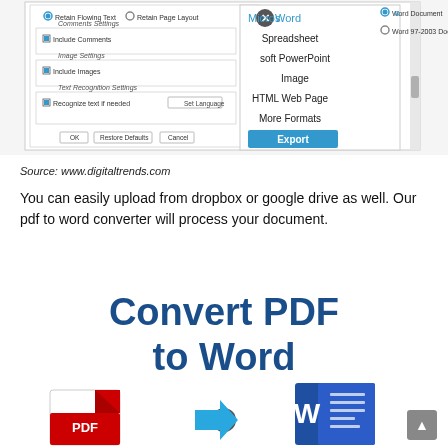[Figure (screenshot): Screenshot of a PDF export dialog showing options like Microsoft Word, Spreadsheet, Microsoft PowerPoint, Image, HTML Web Page, More Formats, and an Export button. Also shows conversion settings with Comments Settings, Image Settings, and Text Recognition Settings panels.]
Source: www.digitaltrends.com
You can easily upload from dropbox or google drive as well. Our pdf to word converter will process your document.
[Figure (illustration): Illustration showing 'Convert PDF to Word' text in dark blue, with a PDF icon on the left, an arrow in the middle, and a Word document icon on the right. A scroll-to-top button is visible in the bottom right corner.]